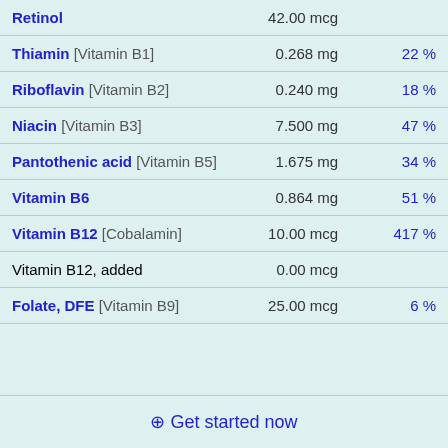| Nutrient | Amount | % DV |
| --- | --- | --- |
| Retinol | 42.00 mcg |  |
| Thiamin [Vitamin B1] | 0.268 mg | 22 % |
| Riboflavin [Vitamin B2] | 0.240 mg | 18 % |
| Niacin [Vitamin B3] | 7.500 mg | 47 % |
| Pantothenic acid [Vitamin B5] | 1.675 mg | 34 % |
| Vitamin B6 | 0.864 mg | 51 % |
| Vitamin B12 [Cobalamin] | 10.00 mcg | 417 % |
| Vitamin B12, added | 0.00 mcg |  |
| Folate, DFE [Vitamin B9] | 25.00 mcg | 6 % |
⊕ Get started now